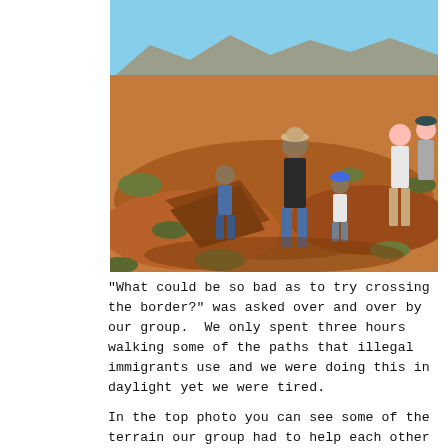[Figure (photo): Outdoor desert photo showing a group of people on rocky, dry terrain with sparse desert scrub vegetation and mountains in the background under a clear blue sky. Several people appear to be helping each other navigate rocky outcroppings along a trail.]
“What could be so bad as to try crossing the border?” was asked over and over by our group.  We only spent three hours walking some of the paths that illegal immigrants use and we were doing this in daylight yet we were tired.
In the top photo you can see some of the terrain our group had to help each other over in sunlight and many who cross will do so at night. Many will break ankles just on the terrain alone.